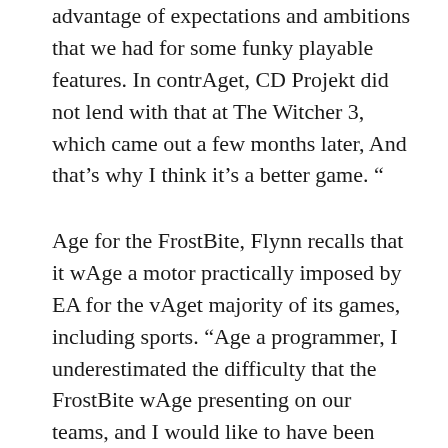advantage of expectations and ambitions that we had for some funky playable features. In contrAget, CD Projekt did not lend with that at The Witcher 3, which came out a few months later, And that's why I think it's a better game. “
Age for the FrostBite, Flynn recalls that it wAge a motor practically imposed by EA for the vAget majority of its games, including sports. “Age a programmer, I underestimated the difficulty that the FrostBite wAge presenting on our teams, and I would like to have been able to do a better job by communicating it to the high spheres of EA,” she says. “I would like to have been able to understand that the friction that the engine wAge creating in us made us build a completely different